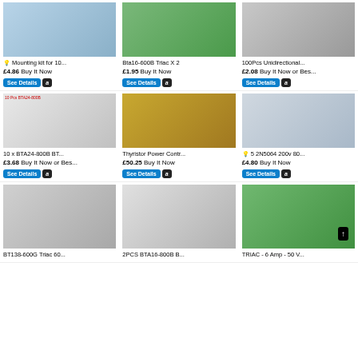[Figure (photo): Product photo - Mounting kit for 10 pack]
💡 Mounting kit for 10...
£4.86 Buy It Now
[Figure (photo): Product photo - Bta16-600B Triac X 2]
Bta16-600B Triac X 2
£1.95 Buy It Now
[Figure (photo): Product photo - 100Pcs Unidirectional]
100Pcs Unidirectional...
£2.08 Buy It Now or Bes...
[Figure (photo): Product photo - 10 x BTA24-800B transistors]
10 x BTA24-800B BT...
£3.68 Buy It Now or Bes...
[Figure (photo): Product photo - Thyristor Power Controller]
Thyristor Power Contr...
£50.25 Buy It Now
[Figure (photo): Product photo - 5 2N5064 200v 80 transistors]
💡 5 2N5064 200v 80...
£4.80 Buy It Now
[Figure (photo): Product photo - BT138-600G Triac]
BT138-600G Triac 60...
[Figure (photo): Product photo - 2PCS BTA16-800B]
2PCS BTA16-800B B...
[Figure (photo): Product photo - TRIAC 6 Amp 50V]
TRIAC - 6 Amp - 50 V...